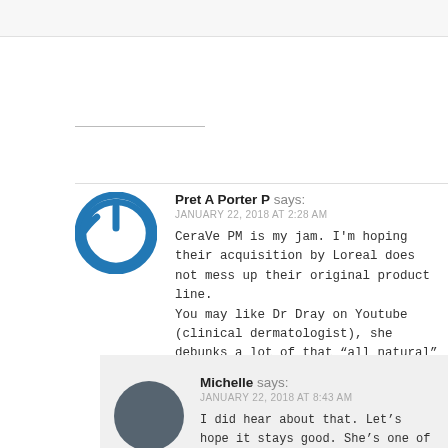Pret A Porter P says:
JANUARY 22, 2018 AT 2:28 AM
CeraVe PM is my jam. I'm hoping their acquisition by Loreal does not mess up their original product line.
You may like Dr Dray on Youtube (clinical dermatologist), she debunks a lot of that “all natural” is better talk. And she recommends no nonsense products.
Like
REPLY
Michelle says:
JANUARY 22, 2018 AT 8:43 AM
I did hear about that. Let’s hope it stays good. She’s one of the YouTube people I do follow for the educational material. Not so much the day in the life type stuff.